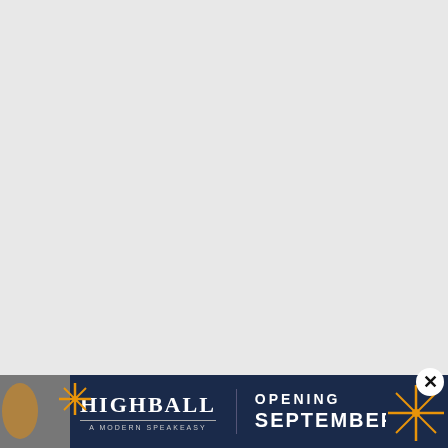[Figure (other): Large light gray blank area occupying the upper portion of the page, representing a blank content area or advertisement placeholder.]
[Figure (other): Advertisement banner for 'Highball - A Modern Speakeasy' with dark navy blue background, gold/orange star decorations, cocktail images, and text reading 'OPENING SEPTEMBER 12'.]